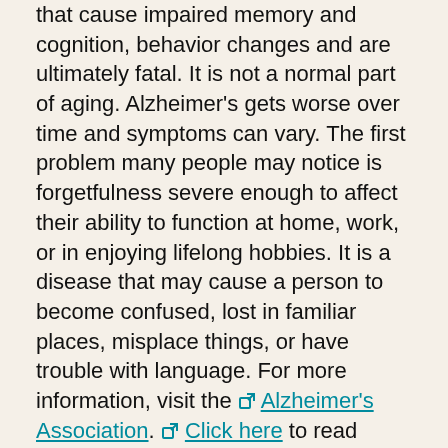that cause impaired memory and cognition, behavior changes and are ultimately fatal. It is not a normal part of aging. Alzheimer's gets worse over time and symptoms can vary. The first problem many people may notice is forgetfulness severe enough to affect their ability to function at home, work, or in enjoying lifelong hobbies. It is a disease that may cause a person to become confused, lost in familiar places, misplace things, or have trouble with language. For more information, visit the Alzheimer's Association. Click here to read more about Early Diagnosis of Dementia.
Are you a family caregiver of a loved one with Alzheimer's disease or other dementias and don't know where to start?